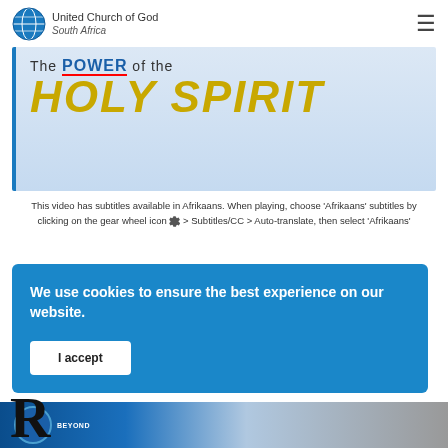United Church of God South Africa
[Figure (illustration): Banner image showing text 'The POWER of the HOLY SPIRIT' on a light blue background, with bold yellow italic text for HOLY SPIRIT and bold blue text for POWER]
This video has subtitles available in Afrikaans. When playing, choose 'Afrikaans' subtitles by clicking on the gear wheel icon ⚙ > Subtitles/CC > Auto-translate, then select 'Afrikaans'
We use cookies to ensure the best experience on our website.
I accept
[Figure (screenshot): Partial bottom strip showing another video thumbnail with a blue globe icon and the word BEYOND partially visible]